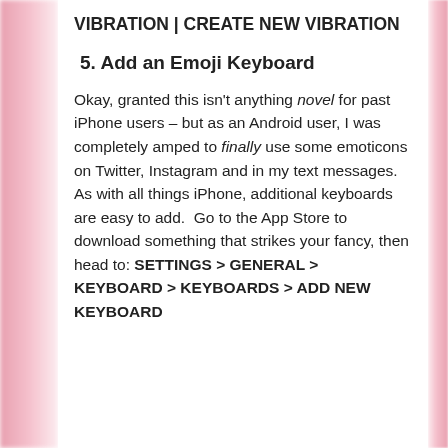VIBRATION | CREATE NEW VIBRATION
5. Add an Emoji Keyboard
Okay, granted this isn't anything novel for past iPhone users – but as an Android user, I was completely amped to finally use some emoticons on Twitter, Instagram and in my text messages.  As with all things iPhone, additional keyboards are easy to add.  Go to the App Store to download something that strikes your fancy, then head to: SETTINGS > GENERAL > KEYBOARD > KEYBOARDS > ADD NEW KEYBOARD